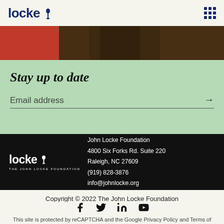locke [logo] John Locke Foundation
[Figure (photo): Dark brown textured background with a red button/block on the left side]
Stay up to date
Email address →
[Figure (logo): John Locke Foundation white logo with flame icon and tagline THE JOHN LOCKE FOUNDATION]
John Locke Foundation
4800 Six Forks Rd. Suite 220
Raleigh, NC 27609
(919) 828-3876
info@johnlocke.org
Copyright © 2022 The John Locke Foundation
[Figure (other): Social media icons: Facebook, Twitter, LinkedIn, YouTube]
This site is protected by reCAPTCHA and the Google Privacy Policy and Terms of